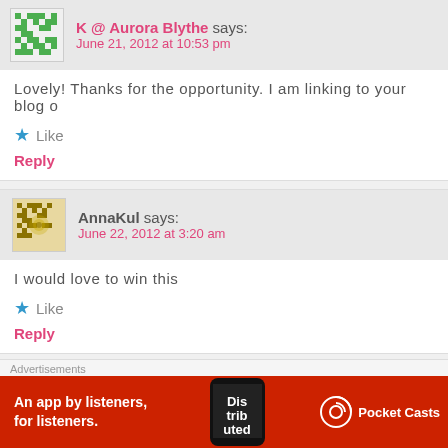K @ Aurora Blythe says: June 21, 2012 at 10:53 pm
Lovely! Thanks for the opportunity. I am linking to your blog o
Like
Reply
AnnaKul says: June 22, 2012 at 3:20 am
I would love to win this
Like
Reply
AnnaKul says:
Advertisements
An app by listeners, for listeners.
Pocket Casts